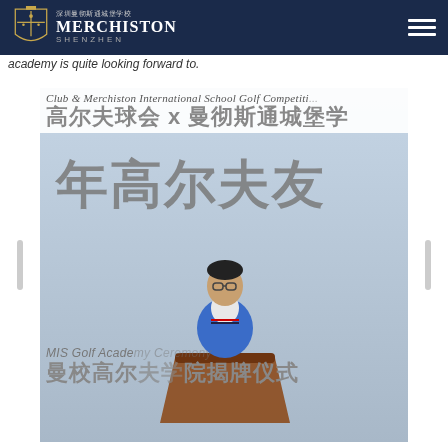Merchiston Shenzhen (深圳曼彻斯通城堡学校)
academy is quite looking forward to.
[Figure (photo): A man in a blue blazer speaking at a podium at an outdoor event for the MIS Golf Academy ceremony. In the background is a banner in English and Chinese reading 'Club & Merchiston International School Golf Competition' and '高尔夫球会 x 曼彻斯通城堡学校' and '少年高尔夫友谊' and 'MIS Golf Academy Ceremony' and '曼校高尔夫学院揭牌仪式'.]